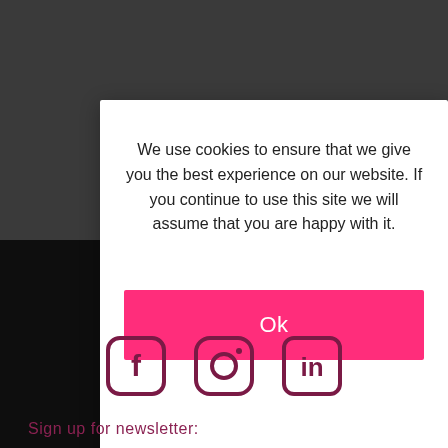[Figure (screenshot): Dark grey website background with a white cookie consent modal dialog overlay. The modal contains text and a pink Ok button. Below the modal, a dark footer area shows social media icons (Facebook, Instagram, LinkedIn) and newsletter signup text.]
We use cookies to ensure that we give you the best experience on our website. If you continue to use this site we will assume that you are happy with it.
Ok
Sign up for newsletter: